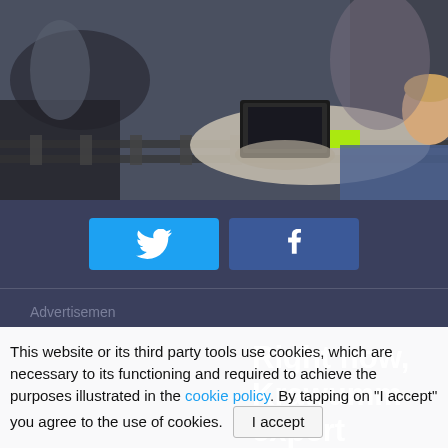[Figure (photo): A man (filmmaker/director) lying on the ground on a film set looking at a laptop, surrounded by industrial/mechanical set pieces and crew members]
[Figure (infographic): Twitter share button (blue) and Facebook share button (dark blue) side by side]
Advertisemen
Right now, Krawumm expert Michael Bay is shooting
This website or its third party tools use cookies, which are necessary to its functioning and required to achieve the purposes illustrated in the cookie policy. By tapping on "I accept" you agree to the use of cookies. [I accept]